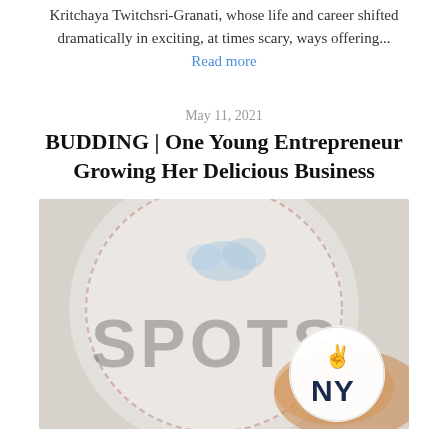Kritchaya Twitchsri-Granati, whose life and career shifted dramatically in exciting, at times scary, ways offering...
Read more
May 11, 2021
BUDDING | One Young Entrepreneur Growing Her Delicious Business
[Figure (photo): Close-up photo of a round badge or cookie with 'SPOTS' text and a smaller round badge with peace sign emoji and 'NY' text, on a blurred background]